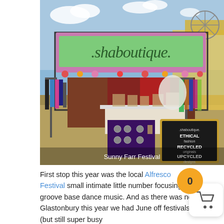[Figure (photo): Outdoor festival market stall for '.shaboutique.' with a large green banner, clothing racks on both sides, jewelry display, and a chalkboard sign reading 'ETHICAL fashion RECYCLED originals UPCYCLED designs'. Caption reads 'Sunny Farr Festival'.]
Sunny Farr Festival
First stop this year was the local Alfresco Festival small intimate little number focusing on groove base dance music. And as there was no Glastonbury this year we had June off festivals (but still super busy